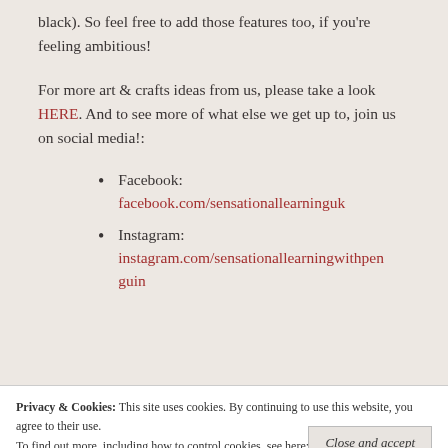black). So feel free to add those features too, if you're feeling ambitious!
For more art & crafts ideas from us, please take a look HERE. And to see more of what else we get up to, join us on social media!:
Facebook: facebook.com/sensationallearninguk
Instagram: instagram.com/sensationallearningwithpenguin
Privacy & Cookies: This site uses cookies. By continuing to use this website, you agree to their use.
To find out more, including how to control cookies, see here: Cookie Policy